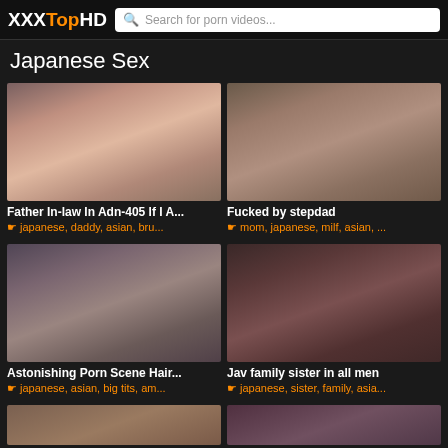XXXTopHD | Search for porn videos...
Japanese Sex
[Figure (photo): Video thumbnail 1]
Father In-law In Adn-405 If I A...
japanese, daddy, asian, bru...
[Figure (photo): Video thumbnail 2]
Fucked by stepdad
mom, japanese, milf, asian, ...
[Figure (photo): Video thumbnail 3]
Astonishing Porn Scene Hair...
japanese, asian, big tits, am...
[Figure (photo): Video thumbnail 4]
Jav family sister in all men
japanese, sister, family, asia...